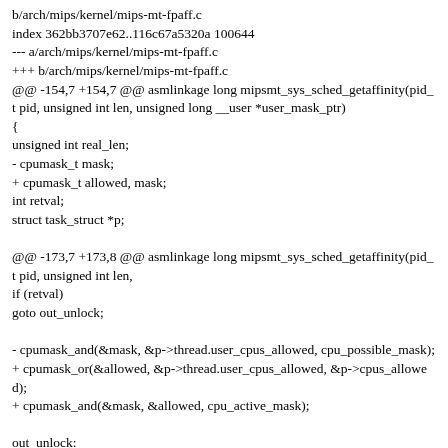b/arch/mips/kernel/mips-mt-fpaff.c
index 362bb3707e62..116c67a5320a 100644
--- a/arch/mips/kernel/mips-mt-fpaff.c
+++ b/arch/mips/kernel/mips-mt-fpaff.c
@@ -154,7 +154,7 @@ asmlinkage long mipsmt_sys_sched_getaffinity(pid_t pid, unsigned int len, unsigned long __user *user_mask_ptr)
{
unsigned int real_len;
- cpumask_t mask;
+ cpumask_t allowed, mask;
int retval;
struct task_struct *p;

@@ -173,7 +173,8 @@ asmlinkage long mipsmt_sys_sched_getaffinity(pid_t pid, unsigned int len,
if (retval)
goto out_unlock;

- cpumask_and(&mask, &p->thread.user_cpus_allowed, cpu_possible_mask);
+ cpumask_or(&allowed, &p->thread.user_cpus_allowed, &p->cpus_allowed);
+ cpumask_and(&mask, &allowed, cpu_active_mask);

out_unlock: